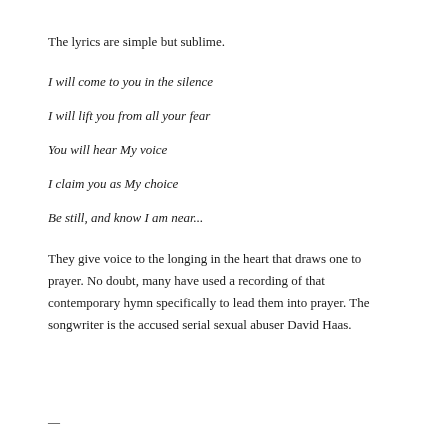The lyrics are simple but sublime.
I will come to you in the silence
I will lift you from all your fear
You will hear My voice
I claim you as My choice
Be still, and know I am near...
They give voice to the longing in the heart that draws one to prayer. No doubt, many have used a recording of that contemporary hymn specifically to lead them into prayer. The songwriter is the accused serial sexual abuser David Haas.
—